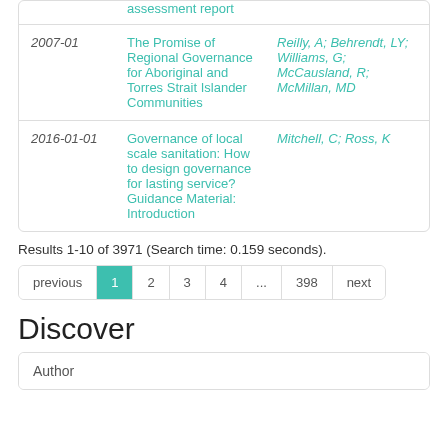| Date | Title | Author |
| --- | --- | --- |
|  | assessment report |  |
| 2007-01 | The Promise of Regional Governance for Aboriginal and Torres Strait Islander Communities | Reilly, A; Behrendt, LY; Williams, G; McCausland, R; McMillan, MD |
| 2016-01-01 | Governance of local scale sanitation: How to design governance for lasting service? Guidance Material: Introduction | Mitchell, C; Ross, K |
Results 1-10 of 3971 (Search time: 0.159 seconds).
previous 1 2 3 4 ... 398 next
Discover
Author